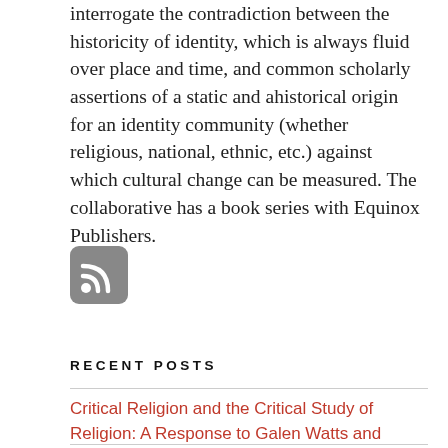interrogate the contradiction between the historicity of identity, which is always fluid over place and time, and common scholarly assertions of a static and ahistorical origin for an identity community (whether religious, national, ethnic, etc.) against which cultural change can be measured. The collaborative has a book series with Equinox Publishers.
[Figure (logo): RSS feed icon — rounded square with grey background and white RSS signal symbol]
RECENT POSTS
Critical Religion and the Critical Study of Religion: A Response to Galen Watts and Sharday Mosurinjohn, Part 2